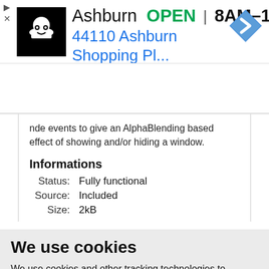[Figure (screenshot): Advertisement banner for a store in Ashburn showing logo, OPEN status, hours 8AM-10PM, address 44110 Ashburn Shopping Pl..., navigation diamond icon, and close/arrow controls]
nde events to give an AlphaBlending based effect of showing and/or hiding a window.
Informations
| Status: | Fully functional |
| Source: | Included |
| Size: | 2kB |
We use cookies
We use cookies and other tracking technologies to improve your browsing experience on our website, to show you personalized content and targeted ads, to analyze our website traffic, and to understand where our visitors are coming from.